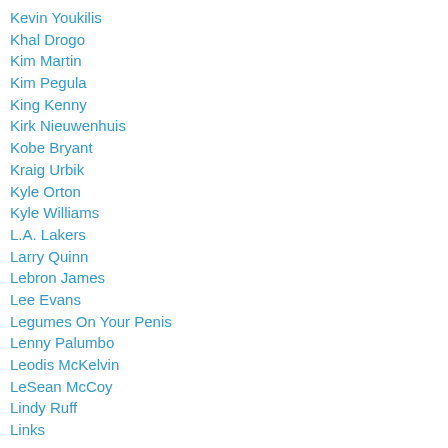Kevin Youkilis
Khal Drogo
Kim Martin
Kim Pegula
King Kenny
Kirk Nieuwenhuis
Kobe Bryant
Kraig Urbik
Kyle Orton
Kyle Williams
L.A. Lakers
Larry Quinn
Lebron James
Lee Evans
Legumes On Your Penis
Lenny Palumbo
Leodis McKelvin
LeSean McCoy
Lindy Ruff
Links